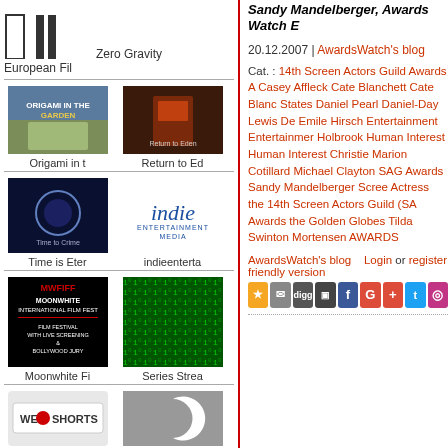[Figure (logo): European Film Festival logo with vertical bars]
Zero Gravity
European Fil
[Figure (photo): Origami in the Garden movie poster]
[Figure (photo): Return to Ed movie still - dark reddish image]
Origami in t
Return to Ed
[Figure (photo): Time is Eternal movie poster - dark blue]
[Figure (logo): indie entertainment media logo]
Time is Eter
indieenterta
[Figure (photo): MWFIFF Moonwhite International Film Fest poster]
[Figure (photo): Series Stream - green matrix-style image]
Moonwhite Fi
Series Strea
[Figure (logo): We Love Shorts logo]
[Figure (logo): Crescent moon logo on grey background]
Sandy Mandelberger, Awards Watch E
20.12.2007 | AwardsWatch's blog
Cat. : 14th Screen Actors Guild Awards A Casey Affleck Cate Blanchett Cate Blanc States Daniel Pearl Daniel-Day Lewis De Emile Hirsch Entertainment Entertainmer Holbrook Human Interest Human Interest Christie Marion Cotillard Michael Clayton SAG Awards Sandy Mandelberger Scree Actress the 14th Screen Actors Guild (SA Awards the Golden Globes Tilda Swinton Mortensen AWARDS
AwardsWatch's blog    Login or register friendly version
[Figure (infographic): Row of social sharing icons: star, email, digg, share, facebook, google+, google+, twitter, instagram]